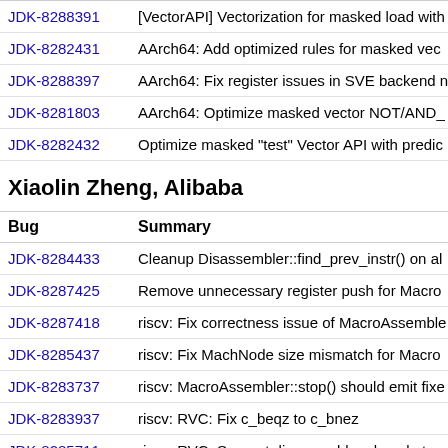| Bug | Summary |
| --- | --- |
| JDK-8288391 | [VectorAPI] Vectorization for masked load with... |
| JDK-8282431 | AArch64: Add optimized rules for masked vec... |
| JDK-8288397 | AArch64: Fix register issues in SVE backend n... |
| JDK-8281803 | AArch64: Optimize masked vector NOT/AND_... |
| JDK-8282432 | Optimize masked "test" Vector API with predic... |
Xiaolin Zheng, Alibaba
| Bug | Summary |
| --- | --- |
| JDK-8284433 | Cleanup Disassembler::find_prev_instr() on al... |
| JDK-8287425 | Remove unnecessary register push for Macro... |
| JDK-8287418 | riscv: Fix correctness issue of MacroAssemble... |
| JDK-8285437 | riscv: Fix MachNode size mismatch for Macro... |
| JDK-8283737 | riscv: MacroAssembler::stop() should emit fixe... |
| JDK-8283937 | riscv: RVC: Fix c_beqz to c_bnez |
| JDK-8285711 | riscv: RVC: Support disassembler show-bytes... |
| JDK-8285435 | Show file and line in MacroAssembler::verify... |